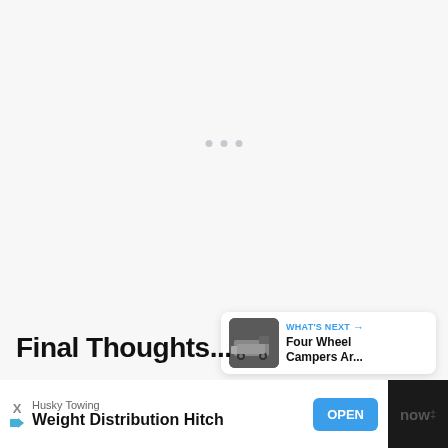[Figure (screenshot): Blank/loading content area with three gray dots indicating loading state]
[Figure (infographic): Like button (blue circle with heart icon), count of 1, and share button (white circle with share icon)]
[Figure (infographic): WHAT'S NEXT card showing thumbnail of truck/camper and text 'Four Wheel Campers Ar...']
Final Thoughts...
[Figure (infographic): Advertisement bar: Husky Towing - Weight Distribution Hitch with OPEN button]